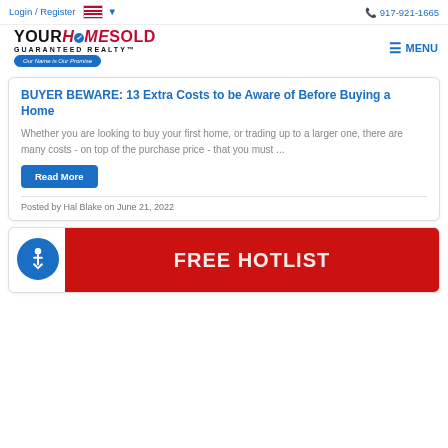Login / Register  🇺🇸 ▾   📞 917-921-1665
[Figure (logo): Your Home Sold Guaranteed Realty logo with tagline 'Our Name is Our Promise']
BUYER BEWARE: 13 Extra Costs to be Aware of Before Buying a Home
Whether you are looking to buy your first home, or trading up to a larger one, there are many costs - on top of the purchase price - that you must ...
Read More
Posted by Hal Blake on June 21, 2022
[Figure (photo): Partial view of a red 'FREE HOTLIST' sign with accessibility icon]